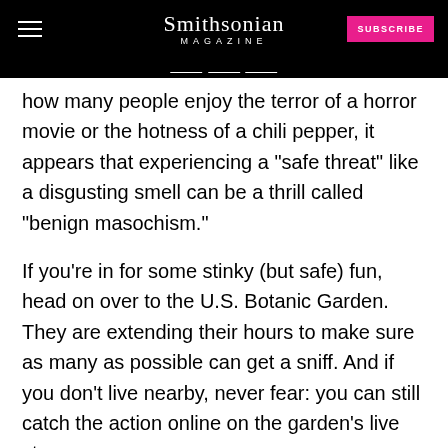Smithsonian MAGAZINE
how many people enjoy the terror of a horror movie or the hotness of a chili pepper, it appears that experiencing a "safe threat" like a disgusting smell can be a thrill called "benign masochism."
If you're in for some stinky (but safe) fun, head on over to the U.S. Botanic Garden. They are extending their hours to make sure as many as possible can get a sniff. And if you don't live nearby, never fear: you can still catch the action online on the garden's live stream.